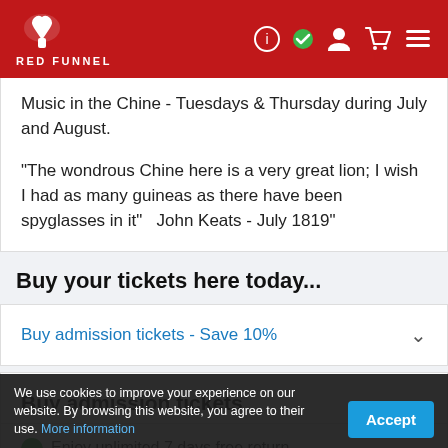Red Funnel
Music in the Chine - Tuesdays & Thursday during July and August.

"The wondrous Chine here is a very great lion; I wish I had as many guineas as there have been spyglasses in it"   John Keats - July 1819"
Buy your tickets here today...
Buy admission tickets - Save 10%
Buy admission tickets
Enjoy unlimited 7 days free return ... days following you...
We use cookies to improve your experience on our website. By browsing this website, you agree to their use. More information